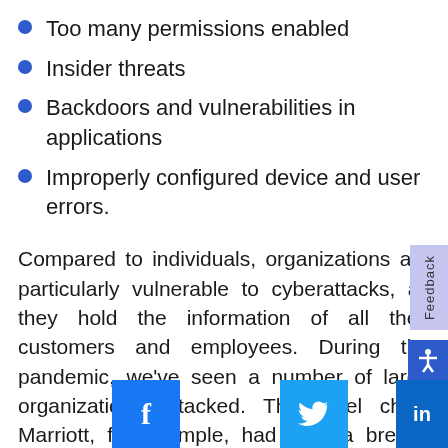Too many permissions enabled
Insider threats
Backdoors and vulnerabilities in applications
Improperly configured device and user errors.
Compared to individuals, organizations are particularly vulnerable to cyberattacks, as they hold the information of all their customers and employees. During the pandemic, we've seen a number of large organizations attacked. The hotel chain Marriott, for example, had a data breach that exposed the data of over five million customers, while car manufacturer Honda had to shut down their worldwide operations aft